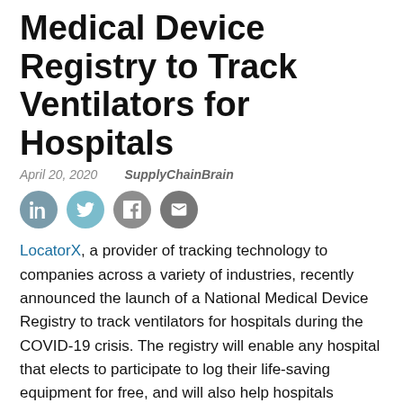Medical Device Registry to Track Ventilators for Hospitals
April 20, 2020    SupplyChainBrain
[Figure (illustration): Four social media sharing icons in circles: LinkedIn (teal), Twitter (light blue), Facebook (gray), Email (dark gray)]
LocatorX, a provider of tracking technology to companies across a variety of industries, recently announced the launch of a National Medical Device Registry to track ventilators for hospitals during the COVID-19 crisis. The registry will enable any hospital that elects to participate to log their life-saving equipment for free, and will also help hospitals quickly identify the status of ventilators available for loan.
“For several weeks, there have been calls for technology